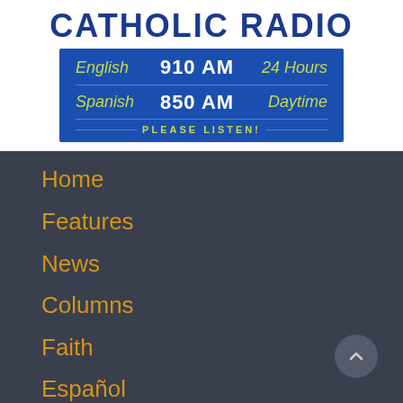Catholic Radio
[Figure (infographic): Blue banner showing Catholic Radio frequencies: English 910 AM 24 Hours, Spanish 850 AM Daytime, PLEASE LISTEN!]
Home
Features
News
Columns
Faith
Español
Archives
Calendar